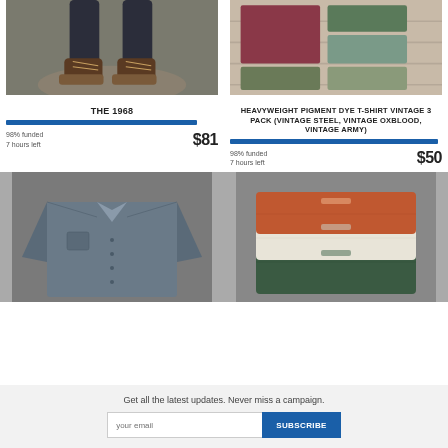[Figure (photo): Close-up of man's lower legs in dark jeans and brown leather boots, standing on a rock outdoors]
THE 1968
98% funded
7 hours left
$81
[Figure (photo): Folded fabric swatches in burgundy/oxblood, dark olive/green, and mint/steel colors on a wooden surface]
HEAVYWEIGHT PIGMENT DYE T-SHIRT VINTAGE 3 PACK (VINTAGE STEEL, VINTAGE OXBLOOD, VINTAGE ARMY)
98% funded
7 hours left
$50
[Figure (photo): Grey denim/chambray button-up long-sleeve shirt laid flat on a grey surface]
[Figure (photo): Three folded t-shirts stacked: orange/rust on top, cream/white in middle, dark green on bottom, on a grey surface]
Get all the latest updates. Never miss a campaign.
your email
SUBSCRIBE